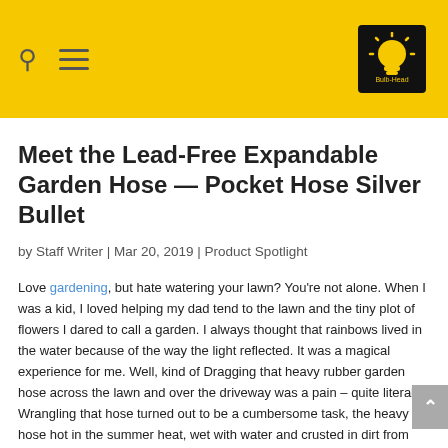Bulb-Head website header with search icon, menu icon, and logo
Meet the Lead-Free Expandable Garden Hose — Pocket Hose Silver Bullet
by Staff Writer | Mar 20, 2019 | Product Spotlight
Love gardening, but hate watering your lawn? You're not alone. When I was a kid, I loved helping my dad tend to the lawn and the tiny plot of flowers I dared to call a garden. I always thought that rainbows lived in the water because of the way the light reflected. It was a magical experience for me. Well, kind of Dragging that heavy rubber garden hose across the lawn and over the driveway was a pain – quite literally. Wrangling that hose turned out to be a cumbersome task, the heavy hose hot in the summer heat, wet with water and crusted in dirt from running it across the garden. Sometimes the hose would get so heavy that some of the flowers or delicate parts of the plants would get destroyed.